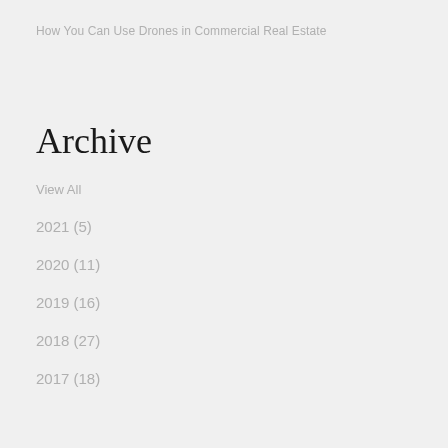How You Can Use Drones in Commercial Real Estate
Archive
View All
2021 (5)
2020 (11)
2019 (16)
2018 (27)
2017 (18)